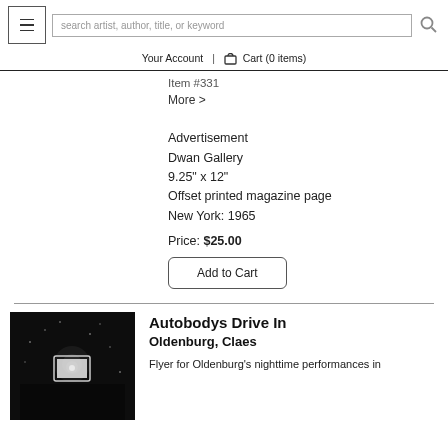search artist, author, title, or keyword | Your Account | Cart (0 items)
Item #331
More >
Advertisement
Dwan Gallery
9.25" x 12"
Offset printed magazine page
New York: 1965
Price: $25.00
Add to Cart
Autobodys Drive In
Oldenburg, Claes
Flyer for Oldenburg's nighttime performances in